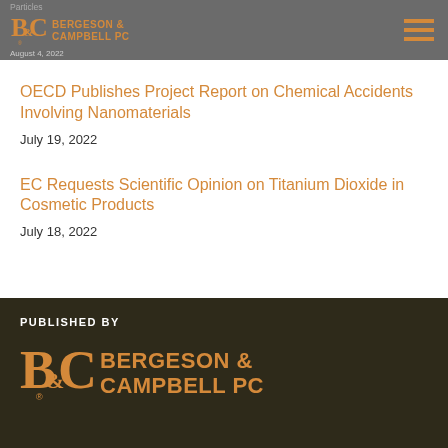Particles
BERGESON & CAMPBELL PC
August 4, 2022
OECD Publishes Project Report on Chemical Accidents Involving Nanomaterials
July 19, 2022
EC Requests Scientific Opinion on Titanium Dioxide in Cosmetic Products
July 18, 2022
PUBLISHED BY
BERGESON & CAMPBELL PC